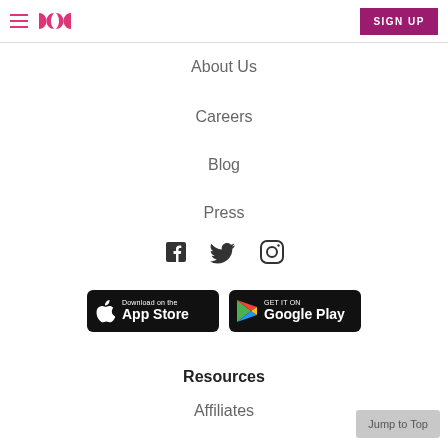≡ ∞ SIGN UP
About Us
Careers
Blog
Press
[Figure (illustration): Social media icons: Facebook, Twitter, Instagram]
[Figure (illustration): Download on the App Store badge and Get it on Google Play badge]
Resources
Affiliates